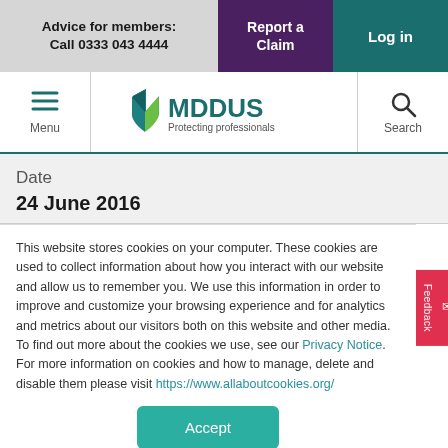Advice for members: Call 0333 043 4444 | Report a Claim | Log in
[Figure (logo): MDDUS logo with shield icon and tagline 'Protecting professionals']
Date
24 June 2016
This website stores cookies on your computer. These cookies are used to collect information about how you interact with our website and allow us to remember you. We use this information in order to improve and customize your browsing experience and for analytics and metrics about our visitors both on this website and other media. To find out more about the cookies we use, see our Privacy Notice. For more information on cookies and how to manage, delete and disable them please visit https://www.allaboutcookies.org/
Accept